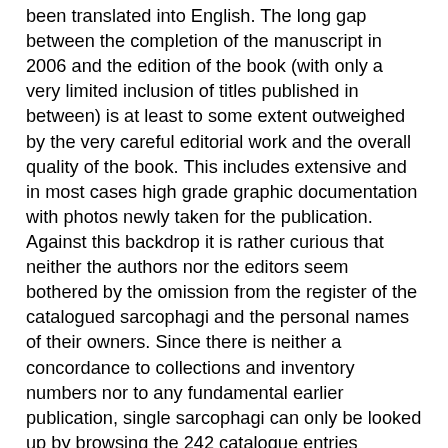been translated into English. The long gap between the completion of the manuscript in 2006 and the edition of the book (with only a very limited inclusion of titles published in between) is at least to some extent outweighed by the very careful editorial work and the overall quality of the book. This includes extensive and in most cases high grade graphic documentation with photos newly taken for the publication. Against this backdrop it is rather curious that neither the authors nor the editors seem bothered by the omission from the register of the catalogued sarcophagi and the personal names of their owners. Since there is neither a concordance to collections and inventory numbers nor to any fundamental earlier publication, single sarcophagi can only be looked up by browsing the 242 catalogue entries arranged according to typological criteria.1
Notes:
1.   This text owes much to Mont Allen's corrections of the reviewer's English.